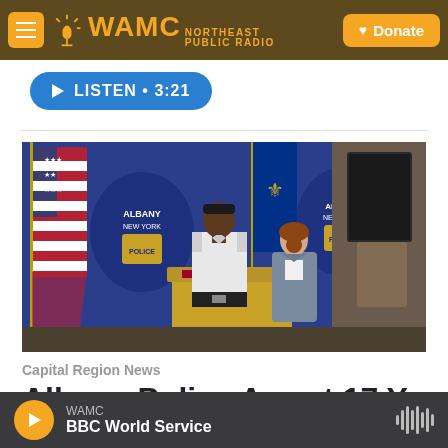WAMC Northeast Public Radio — Donate
[Figure (other): WAMC Northeast Public Radio logo with hamburger menu and Donate button on dark brown header bar]
[Figure (other): Blue listen button with play icon showing LISTEN • 3:21]
[Figure (photo): Press conference photo showing a police officer in white uniform at a podium with Albany Police backdrop, an American flag and New York state flag on the left, and a woman in a grey blazer standing to the right]
Capital Region News
Albany Police Arrest 17 Y...
WAMC — BBC World Service